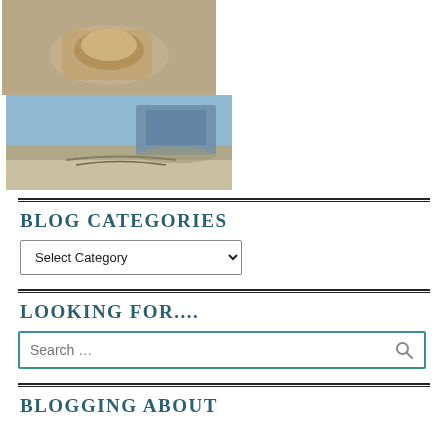[Figure (photo): Left photo: a hand holding a small shell or pebble outdoors]
[Figure (photo): Right photo: a boat on a sandy beach near water with tire tracks in sand]
BLOG CATEGORIES
Select Category (dropdown)
LOOKING FOR....
Search ...
BLOGGING ABOUT